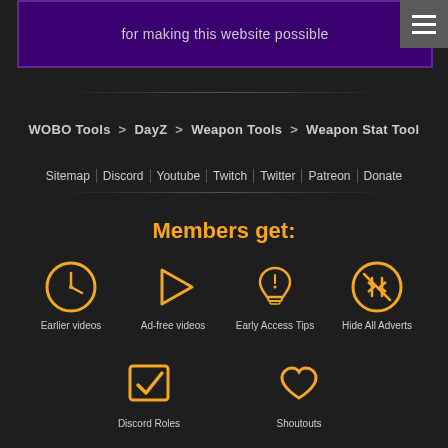for making this website possible
WOBO Tools > DayZ > Weapon Tools > Weapon Stat Tool
Sitemap | Discord | Youtube | Twitch | Twitter | Patreon | Donate
Members get:
[Figure (illustration): Clock icon - Earlier videos]
[Figure (illustration): Play icon - Ad-free videos]
[Figure (illustration): Light bulb icon - Early Access Tips]
[Figure (illustration): Muted speaker icon - Hide All Adverts]
[Figure (illustration): Checkmark box icon - Discord Roles]
[Figure (illustration): Heart icon - Shoutouts]